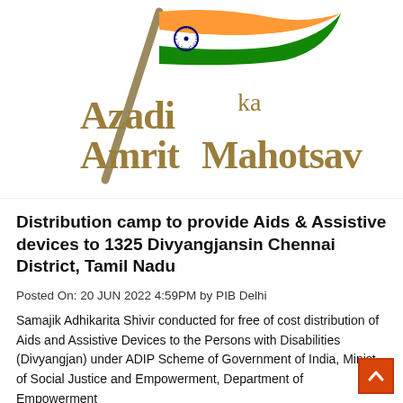[Figure (logo): Azadi Ka Amrit Mahotsav logo with Indian flag graphic on a flagpole, orange, white and green tricolor flag, Ashoka Chakra, and golden/tan stylized text reading 'Azadi Ka Amrit Mahotsav']
Distribution camp to provide Aids & Assistive devices to 1325 Divyangjansin Chennai District, Tamil Nadu
Posted On: 20 JUN 2022 4:59PM by PIB Delhi
Samajik Adhikarita Shivir conducted for free of cost distribution of Aids and Assistive Devices to the Persons with Disabilities (Divyangjan) under ADIP Scheme of Government of India, Ministry of Social Justice and Empowerment, Department of Empowerment